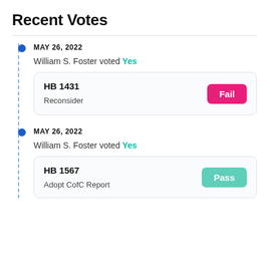Recent Votes
MAY 26, 2022 — William S. Foster voted Yes — HB 1431, Reconsider, Fail
MAY 26, 2022 — William S. Foster voted Yes — HB 1567, Adopt CofC Report, Pass